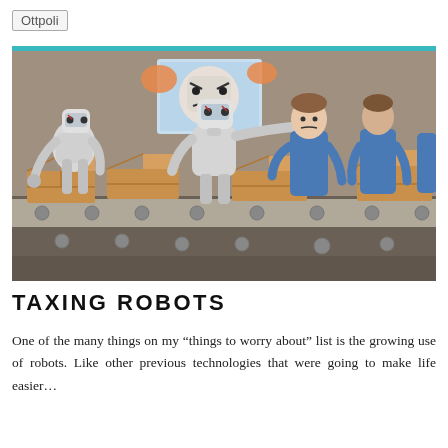Ottpoli
[Figure (illustration): Comic-style illustration of robots working on a factory conveyor belt handling boxes, while a robot points at blue-uniformed human workers who are walking away, indicating robots replacing human workers. An angry robot face is displayed on a screen in the background.]
TAXING ROBOTS
One of the many things on my “things to worry about” list is the growing use of robots. Like other previous technologies that were going to make life easier…